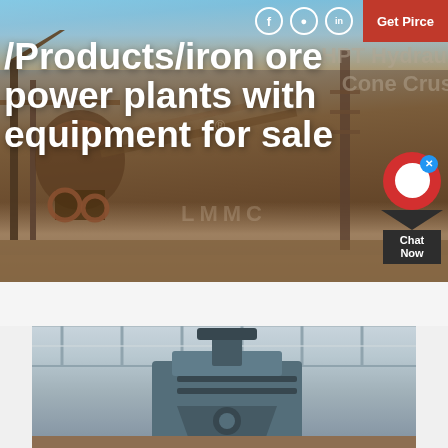[Figure (photo): Hero image of industrial mining/crushing plant machinery and equipment at an outdoor site, with rusty steel structures, conveyor belts, and heavy equipment against a sky background. Overlaid with large white bold text and semi-transparent background brand text 'HPT Hydraulic Cone Crusher'.]
/Products/iron ore power plants with equipment for sale
[Figure (photo): Indoor photo of heavy industrial mining or crushing equipment in a factory/warehouse setting, showing a large grey metal machine component with structural steel framing and roof visible in background.]